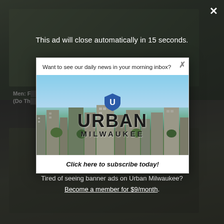[Figure (screenshot): Background webpage screenshot showing article cards with dark overlay and Urban Milwaukee newsletter subscription modal dialog]
This ad will close automatically in 15 seconds.
[Figure (photo): Urban Milwaukee logo overlaid on aerial city skyline photo with blue sky and buildings]
Want to see our daily news in your morning inbox?
Click here to subscribe today!
Tired of seeing banner ads on Urban Milwaukee? Become a member for $9/month.